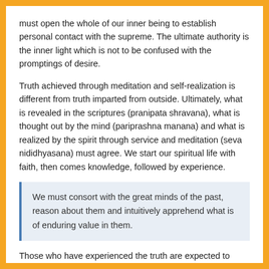must open the whole of our inner being to establish personal contact with the supreme. The ultimate authority is the inner light which is not to be confused with the promptings of desire.
Truth achieved through meditation and self-realization is different from truth imparted from outside. Ultimately, what is revealed in the scriptures (pranipata shravana), what is thought out by the mind (pariprashna manana) and what is realized by the spirit through service and meditation (seva nididhyasana) must agree. We start our spiritual life with faith, then comes knowledge, followed by experience.
We must consort with the great minds of the past, reason about them and intuitively apprehend what is of enduring value in them.
Those who have experienced the truth are expected to